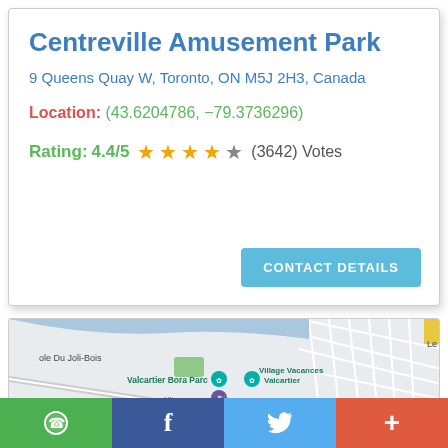Centreville Amusement Park
9 Queens Quay W, Toronto, ON M5J 2H3, Canada
Location: (43.6204786, -79.3736296)
Rating: 4.4/5 ★★★★☆ (3642) Votes
[Figure (map): Google Maps screenshot showing area near Valcartier Bora Parc and Village Vacances Valcartier, with Ultramar gas station visible]
WhatsApp | Facebook | Twitter | More (+)